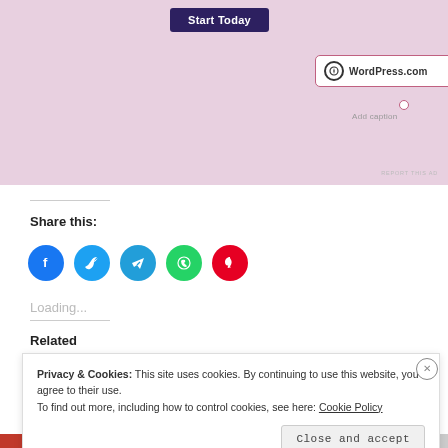[Figure (screenshot): WordPress.com advertisement banner with pink background, 'Start Today' dark button, and WordPress.com logo in a bordered box with 'Add caption' text below]
REPORT THIS AD
Share this:
[Figure (illustration): Row of social media icon buttons: Facebook (blue), Twitter (light blue), Telegram (blue), WhatsApp (green), Pinterest (red)]
Loading...
Related
Privacy & Cookies: This site uses cookies. By continuing to use this website, you agree to their use.
To find out more, including how to control cookies, see here: Cookie Policy
Close and accept
REPORT THIS AD